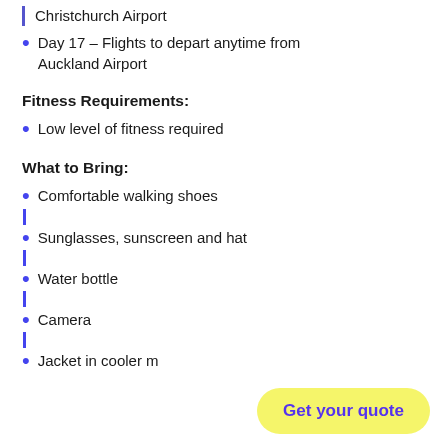Christchurch Airport
Day 17 – Flights to depart anytime from Auckland Airport
Fitness Requirements:
Low level of fitness required
What to Bring:
Comfortable walking shoes
Sunglasses, sunscreen and hat
Water bottle
Camera
Jacket in cooler m…